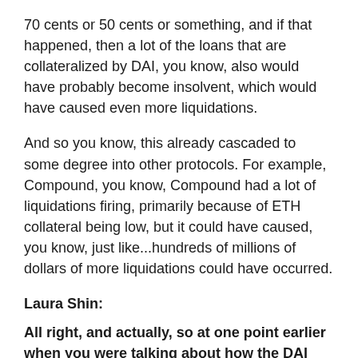70 cents or 50 cents or something, and if that happened, then a lot of the loans that are collateralized by DAI, you know, also would have probably become insolvent, which would have caused even more liquidations.
And so you know, this already cascaded to some degree into other protocols. For example, Compound, you know, Compound had a lot of liquidations firing, primarily because of ETH collateral being low, but it could have caused, you know, just like...hundreds of millions of dollars of more liquidations could have occurred.
Laura Shin:
All right, and actually, so at one point earlier when you were talking about how the DAI price had gone off its peg, you said you would talk about the solution to that later. Is that the USDC thing that MakerDAO adopted later on?